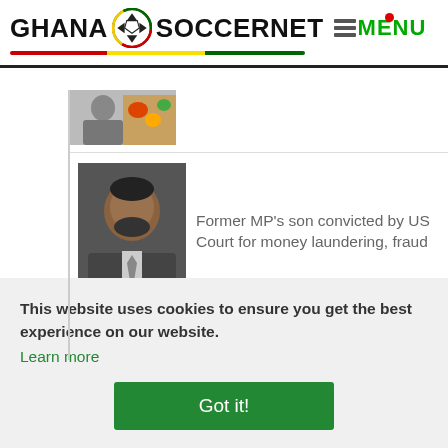[Figure (logo): Ghana Soccernet logo with soccer ball, colored underline in red/yellow/green, and MENU icon]
[Figure (photo): Partially visible thumbnail of a man in a suit with food items in background]
[Figure (photo): Headshot photo of a young Black man in suit and tie]
Former MP's son convicted by US Court for money laundering, fraud
[Figure (logo): GhanaGuardian logo - teal G circle with GhanaGuardian text]
This website uses cookies to ensure you get the best experience on our website.
Learn more
Got it!